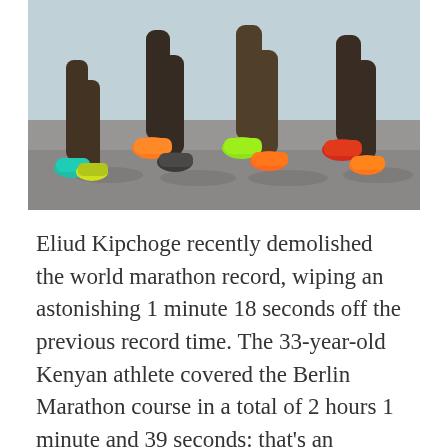[Figure (photo): Close-up photo of four runners' legs mid-stride on a road, wearing colorful running shoes (teal, orange, neon green, red), casting shadows on asphalt. Background is slightly blurred.]
Eliud Kipchoge recently demolished the world marathon record, wiping an astonishing 1 minute 18 seconds off the previous record time. The 33-year-old Kenyan athlete covered the Berlin Marathon course in a total of 2 hours 1 minute and 39 seconds: that's an average pace of 4 min: 38 s per mile, sustained over 26.2 consecutive